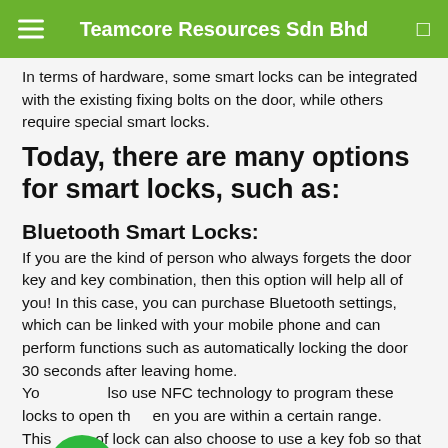Teamcore Resources Sdn Bhd
In terms of hardware, some smart locks can be integrated with the existing fixing bolts on the door, while others require special smart locks.
Today, there are many options for smart locks, such as:
Bluetooth Smart Locks:
If you are the kind of person who always forgets the door key and key combination, then this option will help all of you! In this case, you can purchase Bluetooth settings, which can be linked with your mobile phone and can perform functions such as automatically locking the door 30 seconds after leaving home.
You can also use NFC technology to program these locks to open them when you are within a certain range.
This type of lock can also choose to use a key fob so that you can give it to guests or trusted people.